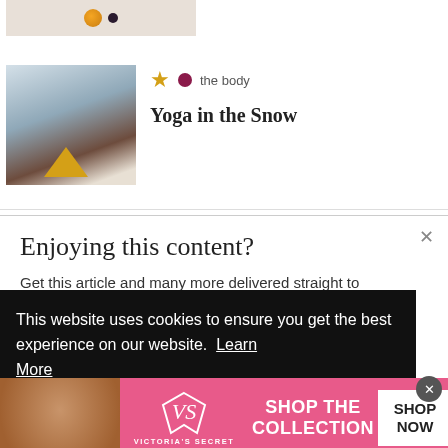[Figure (photo): Partial thumbnail of a food/fruit image at top left corner]
[Figure (photo): Thumbnail of tall pine trees in snow with yellow tent at bottom; article thumbnail for 'Yoga in the Snow']
★  • the body
Yoga in the Snow
Enjoying this content?
Get this article and many more delivered straight to
This website uses cookies to ensure you get the best experience on our website. Learn More
[Figure (advertisement): Victoria's Secret advertisement banner with model, VS logo, 'SHOP THE COLLECTION' text, and 'SHOP NOW' white button]